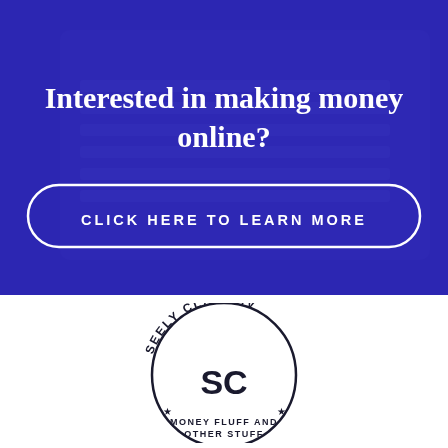[Figure (infographic): Blue/purple overlay banner with laptop keyboard background. Contains headline text 'Interested in making money online?' and a pill-shaped button 'CLICK HERE TO LEARN MORE']
Interested in making money online?
CLICK HERE TO LEARN MORE
[Figure (logo): Seely Clark IV logo: circular badge with 'SEELY CLARK IV' arced around 'SC' monogram, stars, and text 'MONEY FLUFF AND OTHER STUFF']